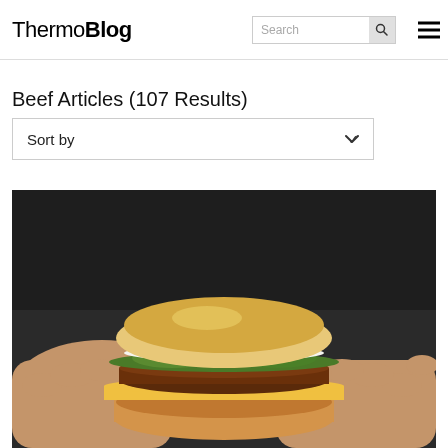ThermoBlog
Beef Articles (107 Results)
Sort by
[Figure (photo): A person holding a beef burger with lettuce, tomato, cheese, and a bun, photographed against a dark background.]